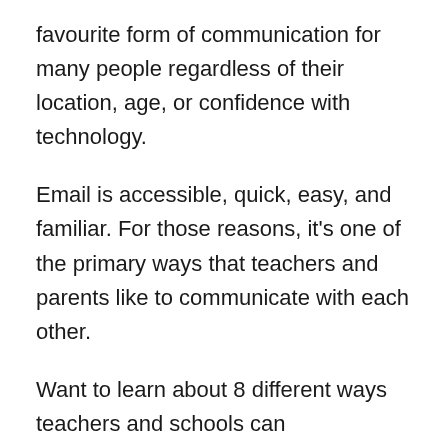favourite form of communication for many people regardless of their location, age, or confidence with technology.
Email is accessible, quick, easy, and familiar. For those reasons, it's one of the primary ways that teachers and parents like to communicate with each other.
Want to learn about 8 different ways teachers and schools can communicate with parents? Check out this comprehensive post!
Email can replace the need for printing off endless paper notes, writing in diaries, or organising time